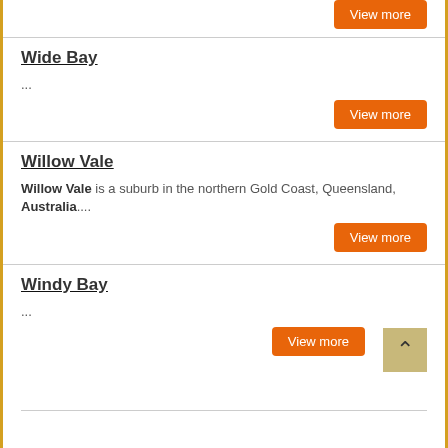Wide Bay
...
Willow Vale
Willow Vale is a suburb in the northern Gold Coast, Queensland, Australia....
Windy Bay
...